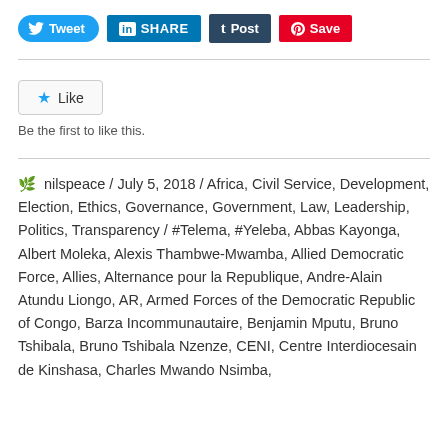[Figure (screenshot): Social media sharing buttons: Tweet (Twitter), SHARE (LinkedIn), Post (Tumblr), Save (Pinterest)]
[Figure (screenshot): Like button with star icon and 'Be the first to like this.' text]
Be the first to like this.
nilspeace / July 5, 2018 / Africa, Civil Service, Development, Election, Ethics, Governance, Government, Law, Leadership, Politics, Transparency / #Telema, #Yeleba, Abbas Kayonga, Albert Moleka, Alexis Thambwe-Mwamba, Allied Democratic Force, Allies, Alternance pour la Republique, Andre-Alain Atundu Liongo, AR, Armed Forces of the Democratic Republic of Congo, Barza Incommunautaire, Benjamin Mputu, Bruno Tshibala, Bruno Tshibala Nzenze, CENI, Centre Interdiocesain de Kinshasa, Charles Mwando Nsimba,